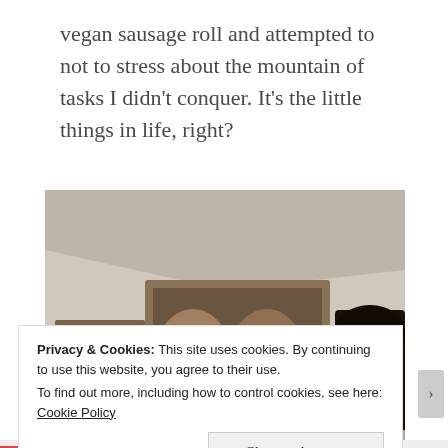vegan sausage roll and attempted to not to stress about the mountain of tasks I didn't conquer. It's the little things in life, right?
[Figure (photo): Indoor photo showing framed religious icons and a flower arrangement with red and white tulips/flowers on a surface, shot from a slightly elevated angle.]
Privacy & Cookies: This site uses cookies. By continuing to use this website, you agree to their use.
To find out more, including how to control cookies, see here: Cookie Policy